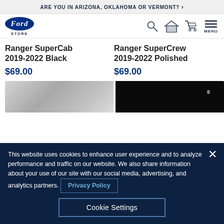ARE YOU IN ARIZONA, OKLAHOMA OR VERMONT? >
[Figure (logo): Ford Store logo with blue oval and STORE text below]
Ranger SuperCab 2019-2022 Black
$69.00
Ranger SuperCrew 2019-2022 Polished
$69.00
[Figure (photo): Left product image - grayscale metallic surface]
[Figure (photo): Right product image - dark/black background with small light element]
This website uses cookies to enhance user experience and to analyze performance and traffic on our website. We also share information about your use of our site with our social media, advertising, and analytics partners. Privacy Policy
Cookie Settings